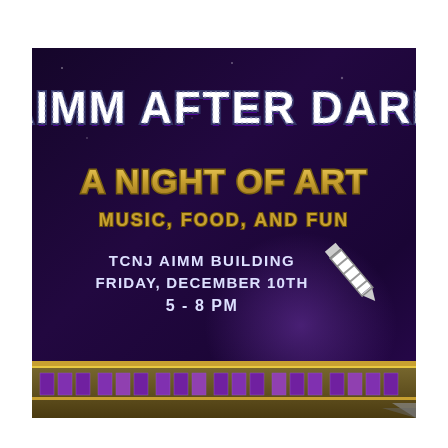[Figure (illustration): Event poster for AIMM After Dark. Dark purple/indigo background with pixel-style title 'AIMM AFTER DARK', subtitle 'A NIGHT OF ART', tag line 'MUSIC, FOOD, AND FUN', details 'TCNJ AIMM BUILDING / FRIDAY, DECEMBER 10TH / 5 - 8 PM', pixel pencil icon, and a pixelated building graphic at the bottom.]